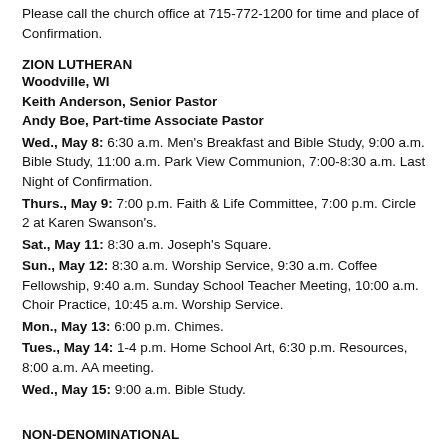Please call the church office at 715-772-1200 for time and place of Confirmation.
ZION LUTHERAN
Woodville, WI
Keith Anderson, Senior Pastor
Andy Boe, Part-time Associate Pastor
Wed., May 8: 6:30 a.m. Men's Breakfast and Bible Study, 9:00 a.m. Bible Study, 11:00 a.m. Park View Communion, 7:00-8:30 a.m. Last Night of Confirmation.
Thurs., May 9: 7:00 p.m. Faith & Life Committee, 7:00 p.m. Circle 2 at Karen Swanson's.
Sat., May 11: 8:30 a.m. Joseph's Square.
Sun., May 12: 8:30 a.m. Worship Service, 9:30 a.m. Coffee Fellowship, 9:40 a.m. Sunday School Teacher Meeting, 10:00 a.m. Choir Practice, 10:45 a.m. Worship Service.
Mon., May 13: 6:00 p.m. Chimes.
Tues., May 14: 1-4 p.m. Home School Art, 6:30 p.m. Resources, 8:00 a.m. AA meeting.
Wed., May 15: 9:00 a.m. Bible Study.
NON-DENOMINATIONAL